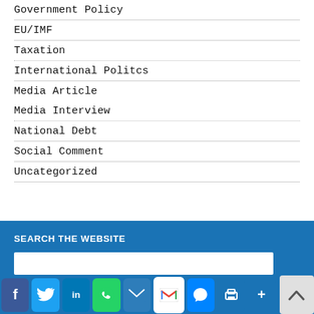Government Policy
EU/IMF
Taxation
International Politcs
Media Article
Media Interview
National Debt
Social Comment
Uncategorized
SEARCH THE WEBSITE
[Figure (screenshot): Social sharing icons: Facebook, Twitter, LinkedIn, WhatsApp, Email, Gmail, Messenger, Print, More]